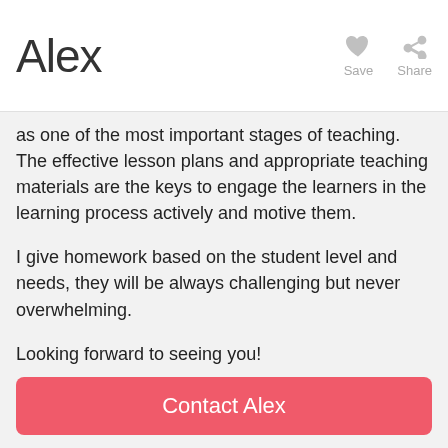Alex
as one of the most important stages of teaching. The effective lesson plans and appropriate teaching materials are the keys to engage the learners in the learning process actively and motive them.
I give homework based on the student level and needs, they will be always challenging but never overwhelming.
Looking forward to seeing you!
Location
Online via webcam
Contact Alex